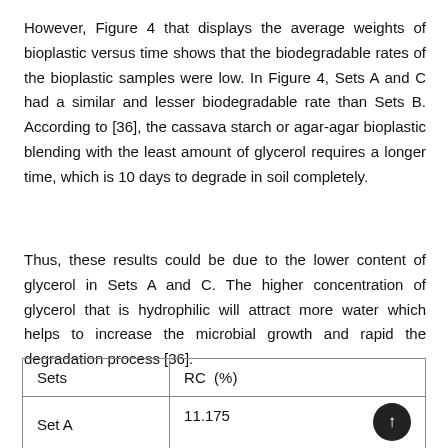However, Figure 4 that displays the average weights of bioplastic versus time shows that the biodegradable rates of the bioplastic samples were low. In Figure 4, Sets A and C had a similar and lesser biodegradable rate than Sets B. According to [36], the cassava starch or agar-agar bioplastic blending with the least amount of glycerol requires a longer time, which is 10 days to degrade in soil completely.
Thus, these results could be due to the lower content of glycerol in Sets A and C. The higher concentration of glycerol that is hydrophilic will attract more water which helps to increase the microbial growth and rapid the degradation process [36].
| Sets | RC  (%) |
| --- | --- |
| Set A | 11.175 |